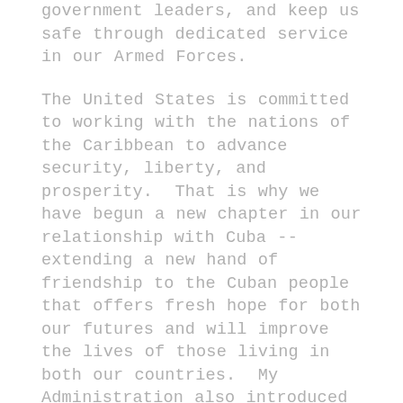government leaders, and keep us safe through dedicated service in our Armed Forces.
The United States is committed to working with the nations of the Caribbean to advance security, liberty, and prosperity.  That is why we have begun a new chapter in our relationship with Cuba -- extending a new hand of friendship to the Cuban people that offers fresh hope for both our futures and will improve the lives of those living in both our countries.  My Administration also introduced the 100,000 Strong in the Americas initiative to provide higher education exchanges to students across the Western Hemisphere, and we launched the Young Leaders of the Americas Initiative to address persistent opportunity gaps in the Americas and to give emerging entrepreneurs and civil society leaders the resources they need